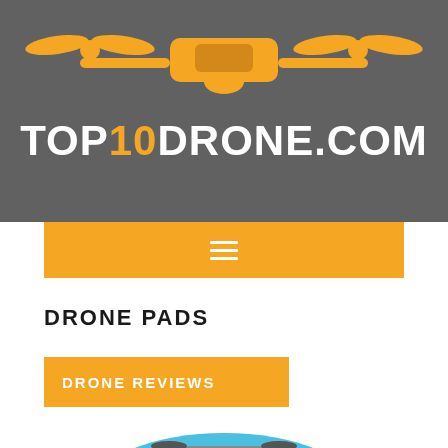[Figure (logo): Top10Drone.com website header with orange drone illustration on dark gray background and white/orange site name text]
[Figure (other): Orange hamburger/menu icon bar]
DRONE PADS
DRONE REVIEWS
[Figure (photo): Drone landing pad with blue and black circular pad and a drone hovering above it]